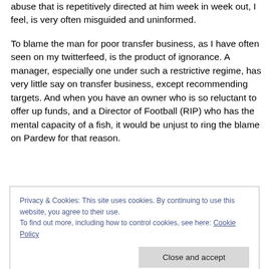abuse that is repetitively directed at him week in week out, I feel, is very often misguided and uninformed.
To blame the man for poor transfer business, as I have often seen on my twitterfeed, is the product of ignorance. A manager, especially one under such a restrictive regime, has very little say on transfer business, except recommending targets. And when you have an owner who is so reluctant to offer up funds, and a Director of Football (RIP) who has the mental capacity of a fish, it would be unjust to ring the blame on Pardew for that reason.
Privacy & Cookies: This site uses cookies. By continuing to use this website, you agree to their use.
To find out more, including how to control cookies, see here: Cookie Policy